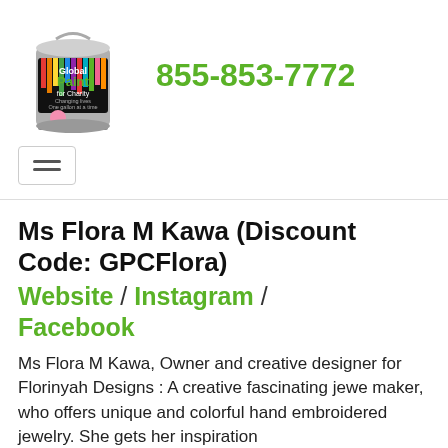[Figure (logo): Global Paint for Charity paint can logo with colorful paint drips]
855-853-7772
[Figure (other): Hamburger menu icon (three horizontal lines) in a bordered box]
Ms Flora M Kawa (Discount Code: GPCFlora)
Website / Instagram / Facebook
Ms Flora M Kawa, Owner and creative designer for Florinyah Designs : A creative fascinating jewe maker, who offers unique and colorful hand embroidered jewelry. She gets her inspiration